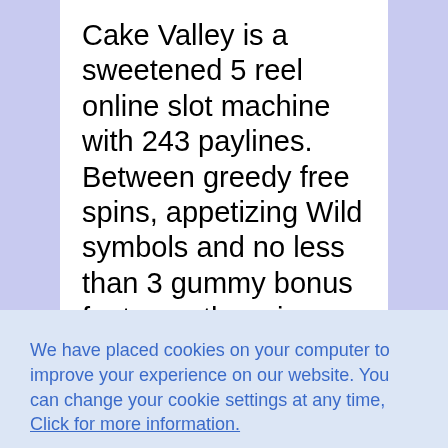Cake Valley is a sweetened 5 reel online slot machine with 243 paylines. Between greedy free spins, appetizing Wild symbols and no less than 3 gummy bonus features, there is something to crack. Those who are sweeter than salty, you will not be able to say that you have not
We have placed cookies on your computer to improve your experience on our website. You can change your cookie settings at any time, Click for more information.
Accept cookies